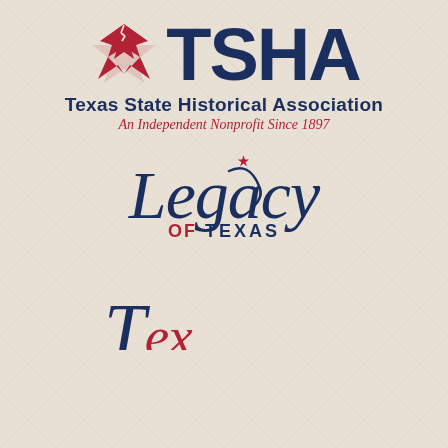[Figure (logo): Texas State Historical Association (TSHA) logo with red star icon and bold dark navy TSHA text, followed by 'Texas State Historical Association' and italic 'An Independent Nonprofit Since 1897']
[Figure (logo): Legacy of Texas logo in dark navy script with 'OF TEXAS' in red/navy block letters and a small red star with swoosh accent]
[Figure (logo): Partial cursive/script text at bottom, appears to be another TSHA branded program logo, cut off]